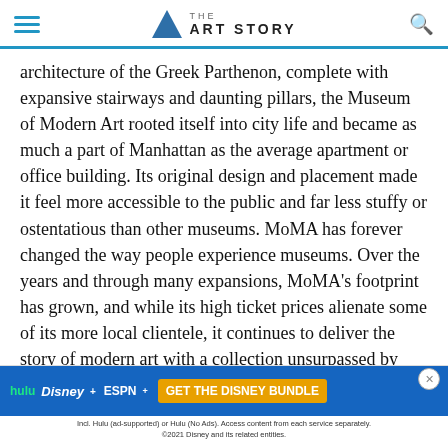THE ART STORY
architecture of the Greek Parthenon, complete with expansive stairways and daunting pillars, the Museum of Modern Art rooted itself into city life and became as much a part of Manhattan as the average apartment or office building. Its original design and placement made it feel more accessible to the public and far less stuffy or ostentatious than other museums. MoMA has forever changed the way people experience museums. Over the years and through many expansions, MoMA's footprint has grown, and while its high ticket prices alienate some of its more local clientele, it continues to deliver the story of modern art with a collection unsurpassed by any modern art museum in existence.
In addition to its roster of notable curators, MoMA has also flourished a host of writers and artists over the years, including
[Figure (screenshot): Advertisement banner for Disney Bundle featuring Hulu, Disney+, ESPN+ logos with 'GET THE DISNEY BUNDLE' call to action button]